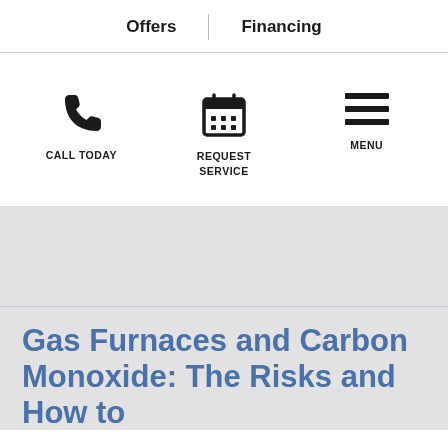Offers | Financing
[Figure (infographic): Navigation action bar with three items: phone icon labeled CALL TODAY, calendar icon labeled REQUEST SERVICE, and hamburger menu icon labeled MENU]
Gas Furnaces and Carbon Monoxide: The Risks and How to